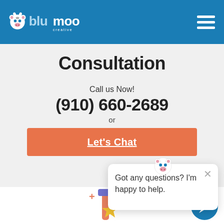[Figure (logo): BluMoo Creative logo — stylized blue cow icon with 'blu' in blue text and 'moo' in white, 'creative' below in white, on blue header background]
Consultation
Call us Now!
(910) 660-2689
or
Let's Chat
[Figure (screenshot): Chat popup widget with cow mascot icon, close X button, and text 'Got any questions? I'm happy to help.']
[Figure (illustration): Cartoon illustration of a person using a tool with a star, plus signs decoration, partially visible at bottom center]
[Figure (other): Blue circular chat bubble button at bottom right corner]